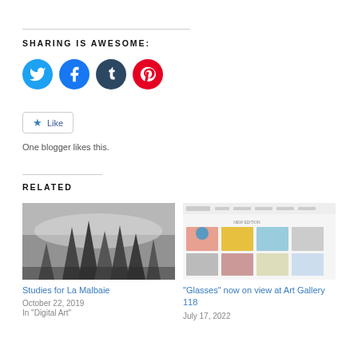SHARING IS AWESOME:
[Figure (infographic): Social sharing icons: Twitter (blue), Facebook (blue), Tumblr (dark navy), Pinterest (red)]
Like
One blogger likes this.
RELATED
[Figure (photo): Black and white photo of evergreen trees in misty forest]
Studies for La Malbaie
October 22, 2019
In "Digital Art"
[Figure (screenshot): Screenshot of an art gallery website showing new edition with multiple artworks]
"Glasses" now on view at Art Gallery 118
July 17, 2022